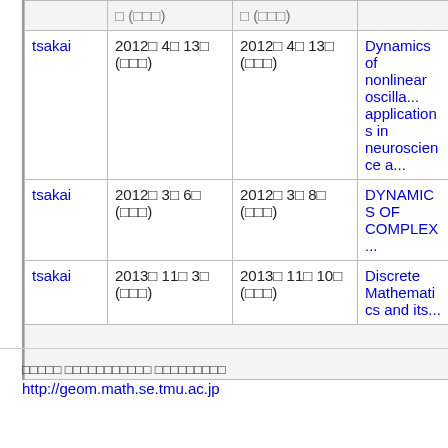| user | start date | end date | title |
| --- | --- | --- | --- |
|  | □ (□□□) | □ (□□□) |  |
| tsakai | 2012□ 4□ 13□ (□□□) | 2012□ 4□ 13□ (□□□) | Dynamics of nonlinear oscilla... applications in neuroscience a... |
| tsakai | 2012□ 3□ 6□ (□□□) | 2012□ 3□ 8□ (□□□) | DYNAMICS OF COMPLEX... |
| tsakai | 2013□ 11□ 3□ (□□□) | 2013□ 11□ 10□ (□□□) | Discrete Mathematics and its... |
|  |  |  |  |
□□□□□ □□□□□□□□□□□ □□□□□□□□□
http://geom.math.se.tmu.ac.jp